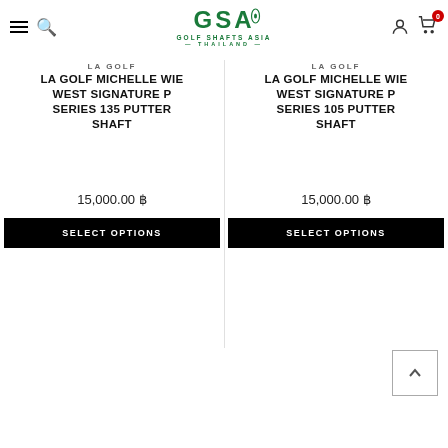[Figure (logo): Golf Shafts Asia Thailand logo with GSA letters in green and tagline]
LA GOLF
LA GOLF MICHELLE WIE WEST SIGNATURE P SERIES 135 PUTTER SHAFT
15,000.00 ฿
SELECT OPTIONS
LA GOLF
LA GOLF MICHELLE WIE WEST SIGNATURE P SERIES 105 PUTTER SHAFT
15,000.00 ฿
SELECT OPTIONS